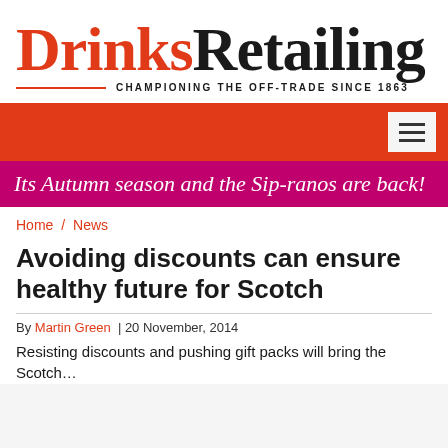[Figure (logo): Drinks Retailing logo with tagline 'CHAMPIONING THE OFF-TRADE SINCE 1863']
[Figure (infographic): Red navigation bar with hamburger menu icon on white background square]
[Figure (infographic): Magenta/pink banner strip with italic text: Its Autumn season and the Sip-ranos are back!]
Home / News
Avoiding discounts can ensure healthy future for Scotch
By Martin Green | 20 November, 2014
Resisting discounts and pushing gift packs will bring the Scotch...